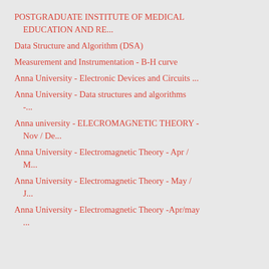POSTGRADUATE INSTITUTE OF MEDICAL EDUCATION AND RE...
Data Structure and Algorithm (DSA)
Measurement and Instrumentation - B-H curve
Anna University - Electronic Devices and Circuits ...
Anna University - Data structures and algorithms -...
Anna university - ELECROMAGNETIC THEORY - Nov / De...
Anna University - Electromagnetic Theory - Apr / M...
Anna University - Electromagnetic Theory - May / J...
Anna University - Electromagnetic Theory -Apr/may ...